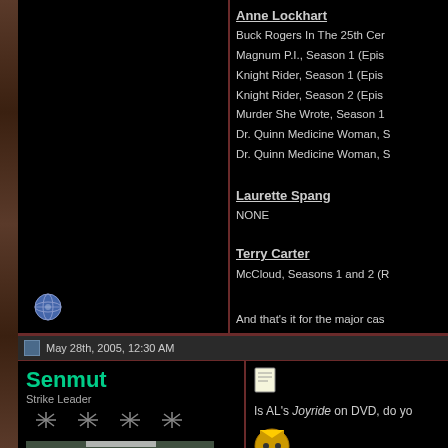Anne Lockhart
Buck Rogers In The 25th Cen
Magnum P.I., Season 1 (Epis
Knight Rider, Season 1 (Epis
Knight Rider, Season 2 (Epis
Murder She Wrote, Season 1
Dr. Quinn Medicine Woman, S
Dr. Quinn Medicine Woman, S
Laurette Spang
NONE
Terry Carter
McCloud, Seasons 1 and 2 (R
And that's it for the major cas
May 28th, 2005, 12:30 AM
Senmut
Strike Leader
Is AL's Joyride on DVD, do yo
Populos stultus viris indignas